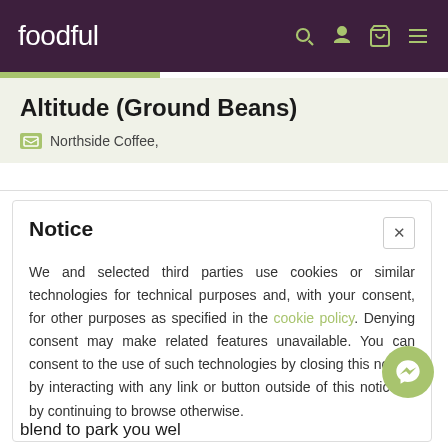foodful
Altitude (Ground Beans)
Northside Coffee,
Notice
We and selected third parties use cookies or similar technologies for technical purposes and, with your consent, for other purposes as specified in the cookie policy. Denying consent may make related features unavailable. You can consent to the use of such technologies by closing this notice, by interacting with any link or button outside of this notice or by continuing to browse otherwise.
blend to park you wel